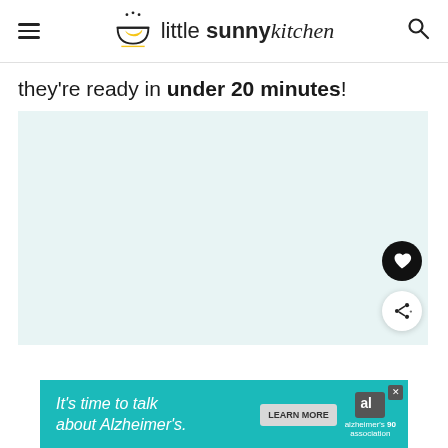little sunny kitchen
they're ready in under 20 minutes!
[Figure (photo): Light teal/blue-green colored image placeholder area with no visible content]
[Figure (infographic): Advertisement banner: 'It's time to talk about Alzheimer's.' with a Learn More button and Alzheimer's Association logo on a teal background]